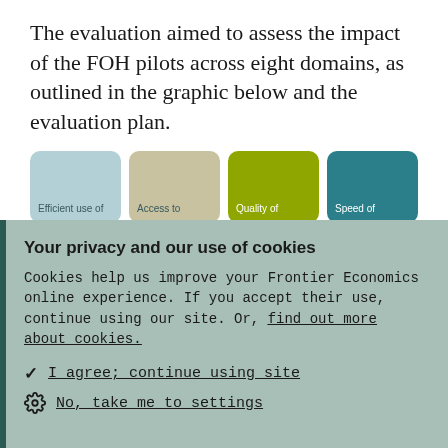The evaluation aimed to assess the impact of the FOH pilots across eight domains, as outlined in the graphic below and the evaluation plan.
[Figure (infographic): Partial view of four colored rounded cards representing evaluation domains. Visible cards: light blue ('Efficient use of'), tan/beige ('Access to'), olive green ('Quality of'), teal ('Speed of').]
Your privacy and our use of cookies
Cookies help us improve your Frontier Economics online experience. If you accept their use, continue using our site. Or, find out more about cookies.
✓ I agree; continue using site
No, take me to settings